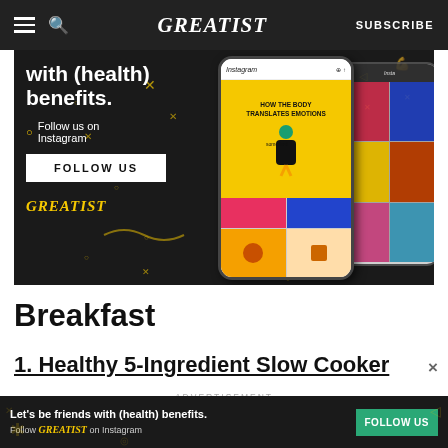GREATIST  SUBSCRIBE
[Figure (illustration): Greatist Instagram ad banner with dark background, yellow doodles, text 'with (health) benefits. Follow us on Instagram', FOLLOW US button, Greatist logo, and smartphone mockup showing Instagram feed with 'How The Body Translates Emotions' post]
Breakfast
1. Healthy 5-Ingredient Slow Cooker
ADVERTISEMENT
[Figure (illustration): Bottom ad bar: 'Let’s be friends with (health) benefits. Follow Greatist on Instagram' with green FOLLOW US button]